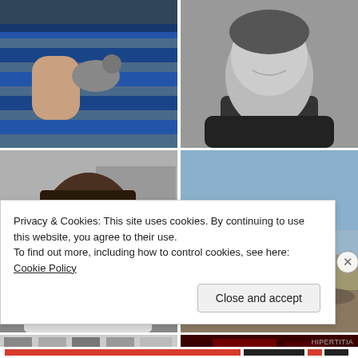[Figure (photo): Person holding a small animal (squirrel/rat) on a blue bench, partial view from above]
[Figure (photo): Black and white portrait of a smiling man in a dark shirt]
[Figure (photo): Black and white portrait of a young Black woman smiling, wearing a white tank top, urban background]
[Figure (photo): Woman in blue long-sleeve shirt and black leggings running on rocky terrain with desert landscape behind her]
[Figure (photo): Partially visible thumbnail images, black and white]
[Figure (photo): Dark red/black image, partially visible]
Privacy & Cookies: This site uses cookies. By continuing to use this website, you agree to their use.
To find out more, including how to control cookies, see here: Cookie Policy
Close and accept